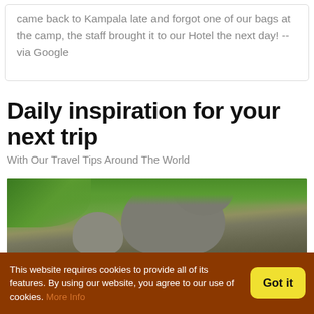came back to Kampala late and forgot one of our bags at the camp, the staff brought it to our Hotel the next day! -- via Google
Daily inspiration for your next trip
With Our Travel Tips Around The World
[Figure (photo): Elephants seen from behind walking through lush green vegetation, with a large elephant prominent in the center and a smaller one to the left.]
This website requires cookies to provide all of its features. By using our website, you agree to our use of cookies. More Info